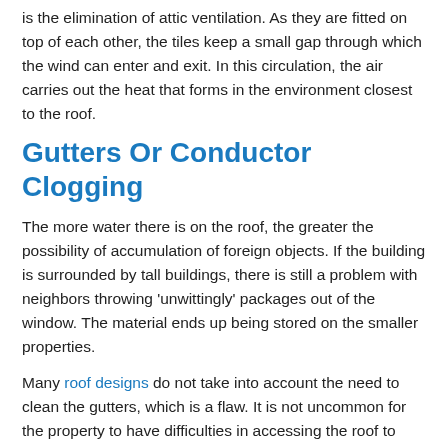is the elimination of attic ventilation. As they are fitted on top of each other, the tiles keep a small gap through which the wind can enter and exit. In this circulation, the air carries out the heat that forms in the environment closest to the roof.
Gutters Or Conductor Clogging
The more water there is on the roof, the greater the possibility of accumulation of foreign objects. If the building is surrounded by tall buildings, there is still a problem with neighbors throwing 'unwittingly' packages out of the window. The material ends up being stored on the smaller properties.
Many roof designs do not take into account the need to clean the gutters, which is a flaw. It is not uncommon for the property to have difficulties in accessing the roof to perform important periodic cleaning. The cleaning of the roof is a fundamental action to avoid the clogging of gutters and conductors, thus protecting the entire building in the long term.
Posted in Residential Roofing, Roof Maintenance
Tagged commercial roof repair kansas city, commercial roofing omaha